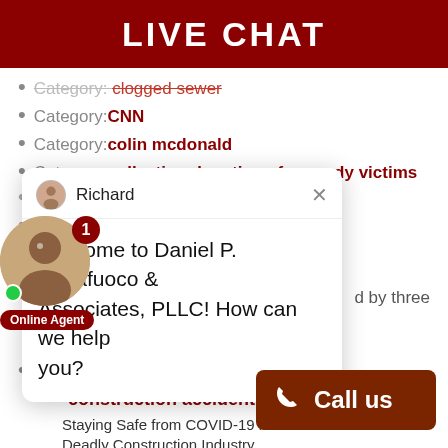LIVE CHAT
Category: clogged sewer
Category: CNN
Category: colin mcdonald
Category: collecting donations for sandy victims
Category: [partially visible]
Category: [partially visible] cs
[partially visible] d by three
[Figure (screenshot): Live chat popup with agent named Richard saying: Welcome to Daniel P. Buttafuoco & Associates, PLLC! How can we help you?]
Category: concussions
Category: construction accident injury
Staying Safe from COVID-19 in New York's Deadly Construction Industry
Category: Construction Accidents
Top Construction Site Sa... Summer
Category: construction crane [collapse]
Category: construction site injury